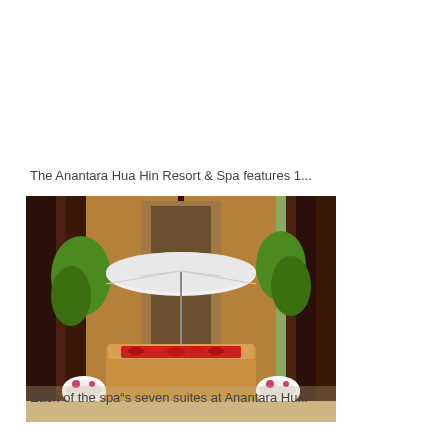The Anantara Hua Hin Resort & Spa features 1...
[Figure (photo): Outdoor spa treatment area at Anantara Hua Hin Resort, showing a wooden massage table covered with red rose petals, white umbrella overhead, rolled white towels on either side, surrounded by tall dark wood panels/screens with lush greenery visible in background]
Each of the spa”s seven suites at Anantara Hu...